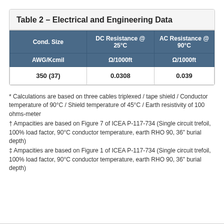Table 2 – Electrical and Engineering Data
| Cond. Size AWG/Kcmil | DC Resistance @ 25°C Ω/1000ft | AC Resistance @ 90°C Ω/1000ft |
| --- | --- | --- |
| 350 (37) | 0.0308 | 0.039 |
* Calculations are based on three cables triplexed / tape shield / Conductor temperature of 90°C / Shield temperature of 45°C / Earth resistivity of 100 ohms-meter
† Ampacities are based on Figure 7 of ICEA P-117-734 (Single circuit trefoil, 100% load factor, 90°C conductor temperature, earth RHO 90, 36" burial depth)
‡ Ampacities are based on Figure 1 of ICEA P-117-734 (Single circuit trefoil, 100% load factor, 90°C conductor temperature, earth RHO 90, 36" burial depth)